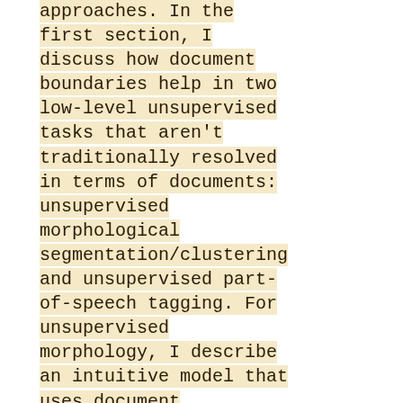approaches. In the first section, I discuss how document boundaries help in two low-level unsupervised tasks that aren't traditionally resolved in terms of documents: unsupervised morphological segmentation/clustering and unsupervised part-of-speech tagging. For unsupervised morphology, I describe an intuitive model that uses document boundaries to strongly constrain how stems may be clustered and segmented with minimal parameter tuning. For